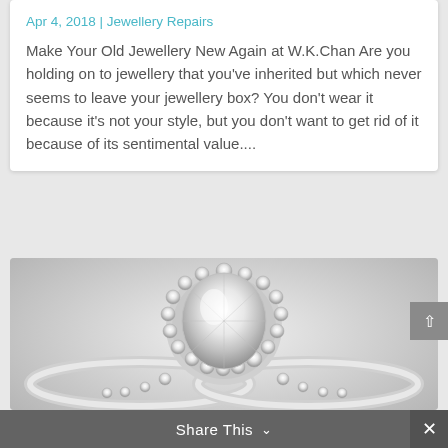Apr 4, 2018 | Jewellery Repairs
Make Your Old Jewellery New Again at W.K.Chan Are you holding on to jewellery that you’ve inherited but which never seems to leave your jewellery box? You don’t wear it because it’s not your style, but you don’t want to get rid of it because of its sentimental value....
[Figure (photo): Close-up photo of a diamond engagement ring with oval center stone surrounded by a halo of smaller diamonds, set on a pavé diamond band, against a gray background.]
Share This